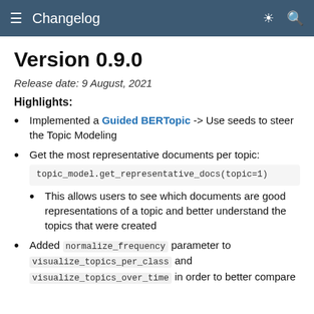Changelog
Version 0.9.0
Release date: 9 August, 2021
Highlights:
Implemented a Guided BERTopic -> Use seeds to steer the Topic Modeling
Get the most representative documents per topic: topic_model.get_representative_docs(topic=1)
• This allows users to see which documents are good representations of a topic and better understand the topics that were created
Added normalize_frequency parameter to visualize_topics_per_class and visualize_topics_over_time in order to better compare